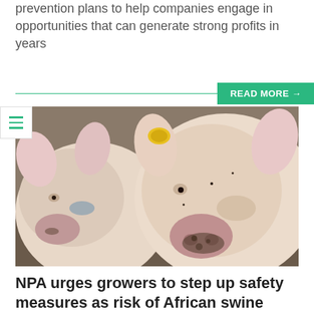prevention plans to help companies engage in opportunities that can generate strong profits in years
READ MORE →
[Figure (photo): Close-up photograph of two pigs facing the camera in a farm setting. One pig has a yellow ear tag. The pig in the foreground has a muddy snout.]
NPA urges growers to step up safety measures as risk of African swine fever rises